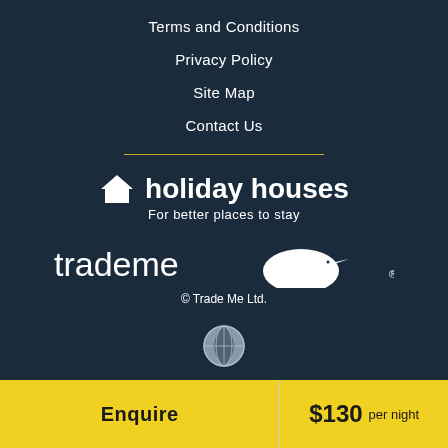Terms and Conditions
Privacy Policy
Site Map
Contact Us
[Figure (logo): Holiday Houses logo with house icon and text 'holiday houses' and tagline 'For better places to stay']
[Figure (logo): Trade Me logo with kiwi bird icon]
© Trade Me Ltd.
[Figure (illustration): Globe icon]
Enquire
$130 per night